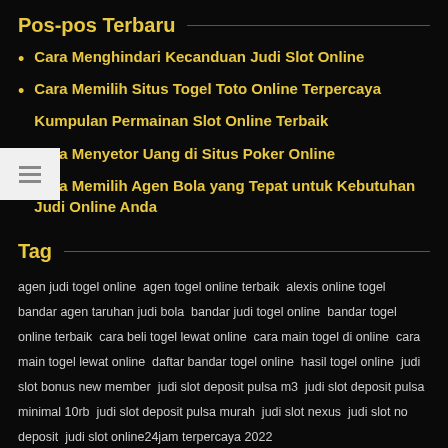Pos-pos Terbaru
Cara Menghindari Kecanduan Judi Slot Online
Cara Memilih Situs Togel Toto Online Terpercaya
Kumpulan Permainan Slot Online Terbaik
Cara Menyetor Uang di Situs Poker Online
Cara Memilih Agen Bola yang Tepat untuk Kebutuhan Judi Online Anda
Tag
agen judi togel online  agen togel online terbaik  alexis online togel  bandar agen taruhan judi bola  bandar judi togel online  bandar togel online terbaik  cara beli togel lewat online  cara main togel di online  cara main togel lewat online  daftar bandar togel online  hasil togel online  judi slot bonus new member  judi slot deposit pulsa m3  judi slot deposit pulsa minimal 10rb  judi slot deposit pulsa murah  judi slot nexus  judi slot no deposit  judi slot online24jam terpercaya 2022